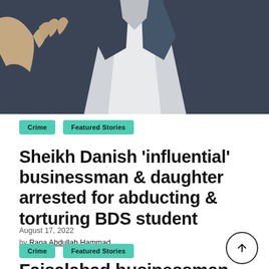[Figure (photo): Partial view of a person wearing a dark navy suit with white shirt, hand raised slightly visible on left side]
Crime   Featured Stories
Sheikh Danish 'influential' businessman & daughter arrested for abducting & torturing BDS student
August 17, 2022
by Rana Abdullah Hammad
Crime   Featured Stories
Faisalabad businessman 14